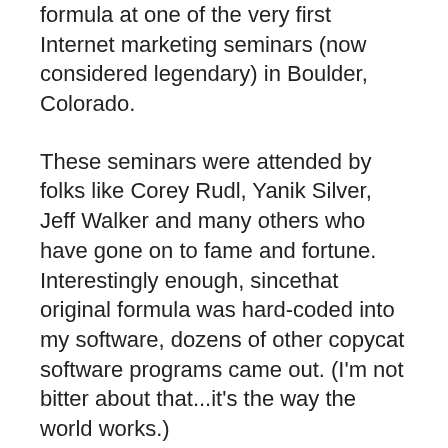formula at one of the very first Internet marketing seminars (now considered legendary) in Boulder, Colorado.
These seminars were attended by folks like Corey Rudl, Yanik Silver, Jeff Walker and many others who have gone on to fame and fortune. Interestingly enough, sincethat original formula was hard-coded into my software, dozens of other copycat software programs came out. (I'm not bitter about that...it's the way the world works.)
But the ODD thing is, precious little creative thinking has been done concerning sales letter formulas. People can make minor changes or variations to the core formula I